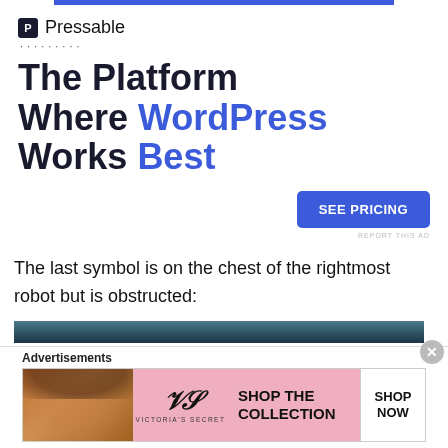[Figure (other): Pressable advertisement banner with blue top bar, Pressable logo, headline 'The Platform Where WordPress Works Best', and 'SEE PRICING' button]
The last symbol is on the chest of the rightmost robot but is obstructed:
[Figure (photo): Bottom portion of an image showing dark teal/blue tones, partially visible]
[Figure (other): Victoria's Secret advertisement banner with model photo, VS logo, 'SHOP THE COLLECTION' text, and 'SHOP NOW' button]